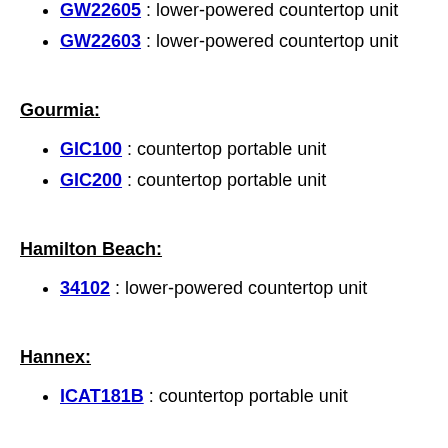GW22605 : lower-powered countertop unit
GW22603 : lower-powered countertop unit
Gourmia:
GIC100 : countertop portable unit
GIC200 : countertop portable unit
Hamilton Beach:
34102 : lower-powered countertop unit
Hannex:
ICAT181B : countertop portable unit